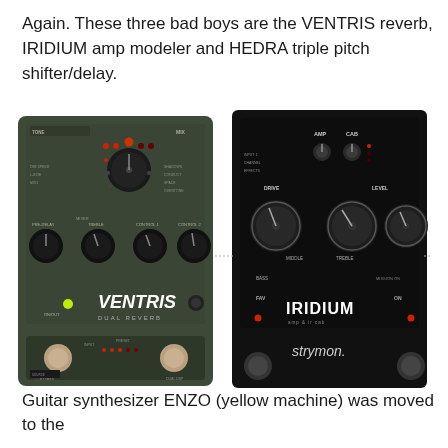Again. These three bad boys are the VENTRIS reverb, IRIDIUM amp modeler and HEDRA triple pitch shifter/delay.
[Figure (photo): Two guitar effects pedals side by side. Left: VENTRIS Dual Reverb pedal (dark green/olive color) with multiple knobs and LED indicators. Right: IRIDIUM amp & cab pedal (black) by Strymon with multiple knobs.]
Guitar synthesizer ENZO (yellow machine) was moved to the